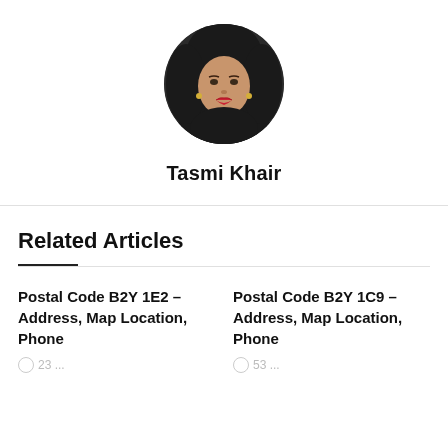[Figure (photo): Circular profile photo of Tasmi Khair, a woman with dark hair, wearing a dark outfit, smiling.]
Tasmi Khair
Related Articles
Postal Code B2Y 1E2 – Address, Map Location, Phone
Postal Code B2Y 1C9 – Address, Map Location, Phone